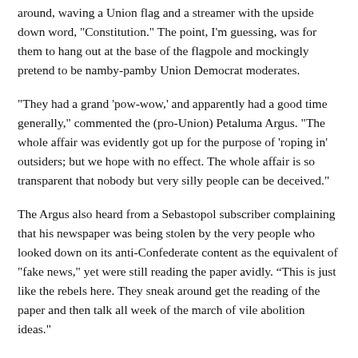around, waving a Union flag and a streamer with the upside down word, "Constitution." The point, I'm guessing, was for them to hang out at the base of the flagpole and mockingly pretend to be namby-pamby Union Democrat moderates.
"They had a grand 'pow-wow,' and apparently had a good time generally," commented the (pro-Union) Petaluma Argus. "The whole affair was evidently got up for the purpose of 'roping in' outsiders; but we hope with no effect. The whole affair is so transparent that nobody but very silly people can be deceived."
The Argus also heard from a Sebastopol subscriber complaining that his newspaper was being stolen by the very people who looked down on its anti-Confederate content as the equivalent of "fake news," yet were still reading the paper avidly. “This is just like the rebels here. They sneak around get the reading of the paper and then talk all week of the march of vile abolition ideas."
At least once, though, the joke was on Sebastopol's anti-Yankee fanboys. During the Civil War, Fort Alcatraz was